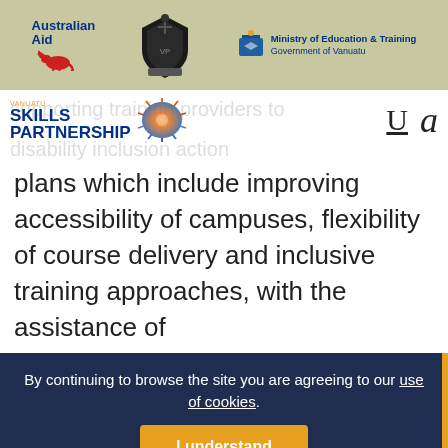[Figure (logo): Header bar with three logos: Australian Aid (with kangaroo), Vanuatu government crest, and Ministry of Education & Training Government of Vanuatu]
[Figure (logo): Vanuatu Skills Partnership logo with sunburst graphic and VANUATU SKILLS PARTNERSHIP text]
supporting training providers to disability inclusion action plans which include improving accessibility of campuses, flexibility of course delivery and inclusive training approaches, with the assistance of
By continuing to browse the site you are agreeing to our use of cookies. I understand
skills training for people with and without disabilities in remote areas